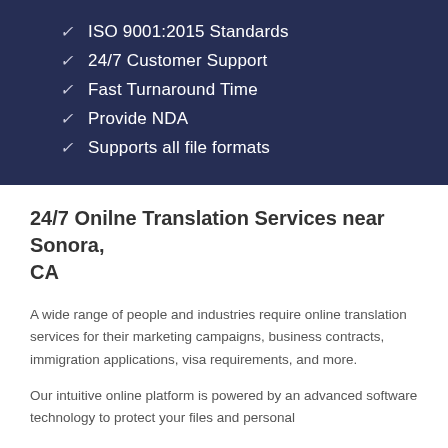✓ ISO 9001:2015 Standards
✓ 24/7 Customer Support
✓ Fast Turnaround Time
✓ Provide NDA
✓ Supports all file formats
24/7 Onilne Translation Services near Sonora, CA
A wide range of people and industries require online translation services for their marketing campaigns, business contracts, immigration applications, visa requirements, and more.
Our intuitive online platform is powered by an advanced software technology to protect your files and personal